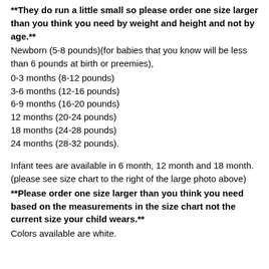**They do run a little small so please order one size larger than you think you need by weight and height and not by age.**
Newborn (5-8 pounds)(for babies that you know will be less than 6 pounds at birth or preemies),
0-3 months (8-12 pounds)
3-6 months (12-16 pounds)
6-9 months (16-20 pounds)
12 months (20-24 pounds)
18 months (24-28 pounds)
24 months (28-32 pounds).
Infant tees are available in 6 month, 12 month and 18 month. (please see size chart to the right of the large photo above)
**Please order one size larger than you think you need based on the measurements in the size chart not the current size your child wears.**
Colors available are white.